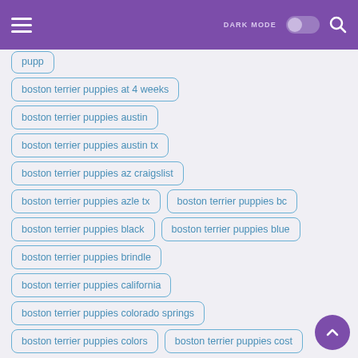DARK MODE [toggle] [search]
boston terrier puppies at 4 weeks
boston terrier puppies austin
boston terrier puppies austin tx
boston terrier puppies az craigslist
boston terrier puppies azle tx
boston terrier puppies bc
boston terrier puppies black
boston terrier puppies blue
boston terrier puppies brindle
boston terrier puppies california
boston terrier puppies colorado springs
boston terrier puppies colors
boston terrier puppies cost